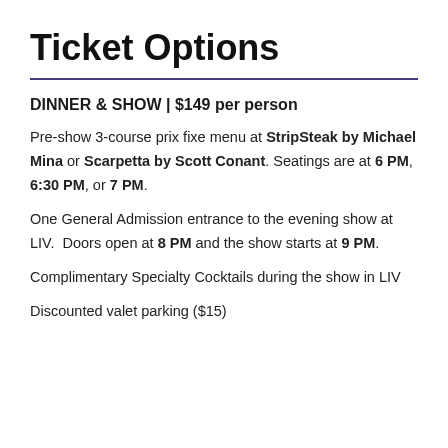Ticket Options
DINNER & SHOW | $149 per person
Pre-show 3-course prix fixe menu at StripSteak by Michael Mina or Scarpetta by Scott Conant. Seatings are at 6 PM, 6:30 PM, or 7 PM.
One General Admission entrance to the evening show at LIV.  Doors open at 8 PM and the show starts at 9 PM.
Complimentary Specialty Cocktails during the show in LIV
Discounted valet parking ($15)